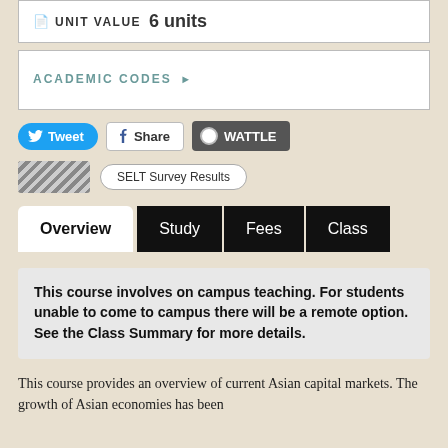UNIT VALUE  6 units
ACADEMIC CODES ▶
[Figure (screenshot): Social sharing buttons: Tweet (Twitter), Share (Facebook), WATTLE]
[Figure (logo): Striped logo placeholder and SELT Survey Results button]
Overview  Study  Fees  Class
This course involves on campus teaching. For students unable to come to campus there will be a remote option. See the Class Summary for more details.
This course provides an overview of current Asian capital markets. The growth of Asian economies has been